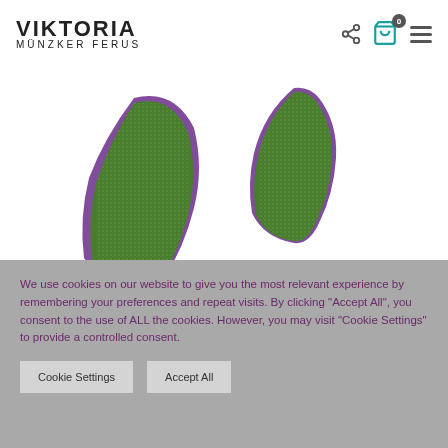VIKTORIA MÜNZKER FERUS
[Figure (photo): Two green and purple textured fabric/clothing items on white background]
We use cookies on our website to give you the most relevant experience by remembering your preferences and repeat visits. By clicking "Accept All", you consent to the use of ALL the cookies. However, you may visit "Cookie Settings" to provide a controlled consent.
Cookie Settings | Accept All